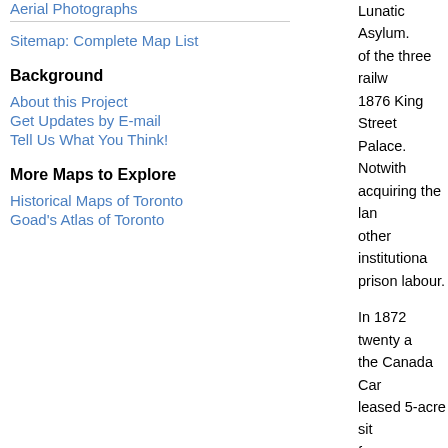Aerial Photographs
Sitemap: Complete Map List
Background
About this Project
Get Updates by E-mail
Tell Us What You Think!
More Maps to Explore
Historical Maps of Toronto
Goad's Atlas of Toronto
Lunatic Asylum. of the three railway 1876 King Street Palace. Notwithstanding acquiring the land other institutional prison labour.
In 1872 twenty a the Canada Car leased 5-acre sit for a reformatory ON., to Toronto, totaled 11 acres. Trunk--effectively Farm in the city.
Plates 20 and 21 Village area filled industry to new s of the area from